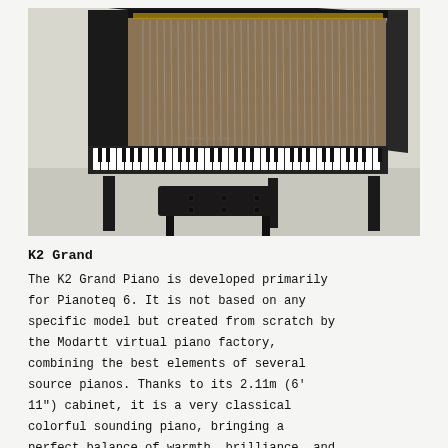[Figure (photo): A black grand piano with the lid open, showing the strings inside, with a black tufted piano bench in front. The piano appears to be a Steinway & Sons model, photographed in a showroom or studio setting.]
K2 Grand
The K2 Grand Piano is developed primarily for Pianoteq 6. It is not based on any specific model but created from scratch by the Modartt virtual piano factory, combining the best elements of several source pianos. Thanks to its 2.11m (6' 11") cabinet, it is a very classical colorful sounding piano, bringing a perfect balance of warmth, brilliance, and